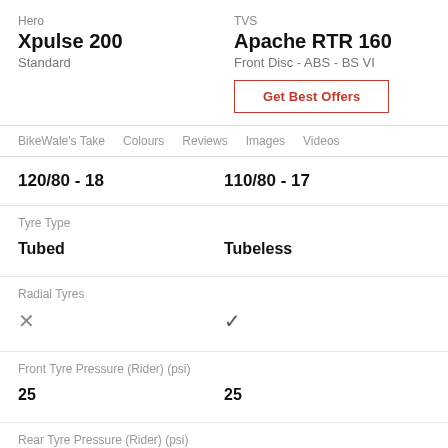Hero
Xpulse 200
Standard
TVS
Apache RTR 160
Front Disc - ABS - BS VI
Get Best Offers
BikeWale's Take   Colours   Reviews   Images   Videos
| Hero Xpulse 200 | TVS Apache RTR 160 |
| --- | --- |
| 120/80 - 18 | 110/80 - 17 |
| Tyre Type |  |
| Tubed | Tubeless |
| Radial Tyres |  |
| ✕ | ✓ |
| Front Tyre Pressure (Rider) (psi) |  |
| 25 | 25 |
| Rear Tyre Pressure (Rider) (psi) |  |